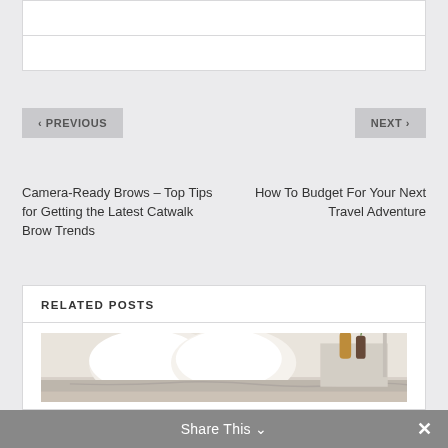< PREVIOUS
NEXT >
Camera-Ready Brows – Top Tips for Getting the Latest Catwalk Brow Trends
How To Budget For Your Next Travel Adventure
RELATED POSTS
[Figure (photo): Bedroom scene with white pillows, beige blanket, and decorative vases on a bedside table]
Share This